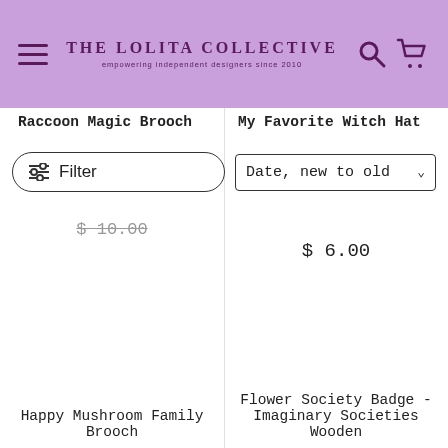THE LOLITA COLLECTIVE — empowering independent designers since 2010
Raccoon Magic Brooch
My Favorite Witch Hat
Filter
Date, new to old
$ 10.00
$ 6.00
Happy Mushroom Family Brooch
Flower Society Badge - Imaginary Societies Wooden